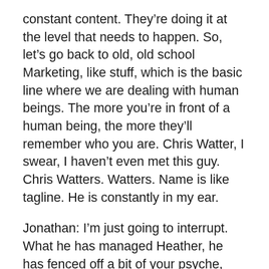constant content. They're doing it at the level that needs to happen. So, let's go back to old, old school Marketing, like stuff, which is the basic line where we are dealing with human beings. The more you're in front of a human being, the more they'll remember who you are. Chris Watter, I swear, I haven't even met this guy. Chris Watters. Watters. Name is like tagline. He is constantly in my ear.
Jonathan: I'm just going to interrupt. What he has managed Heather, he has fenced off a bit of your psyche, hasn't he?